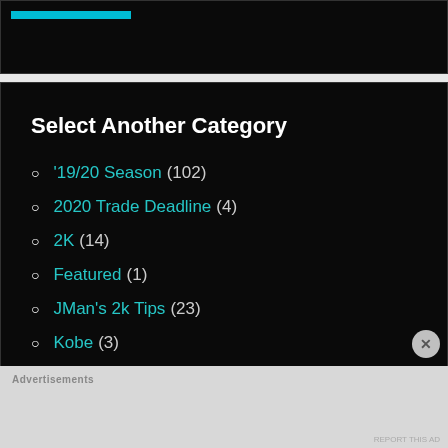Select Another Category
'19/20 Season (102)
2020 Trade Deadline (4)
2K (14)
Featured (1)
JMan's 2k Tips (23)
Kobe (3)
Lakers (24)
NBA (270)
NBA 2020 Restart (7)